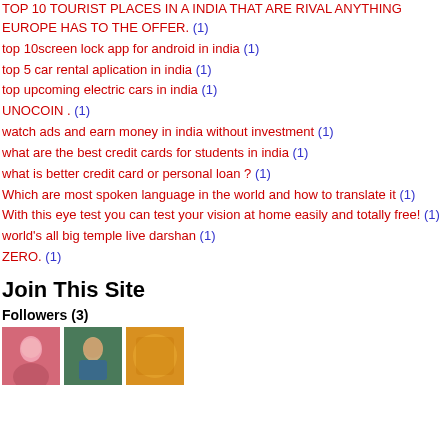TOP 10 TOURIST PLACES IN A INDIA THAT ARE RIVAL ANYTHING EUROPE HAS TO THE OFFER. (1)
top 10screen lock app for android in india (1)
top 5 car rental aplication in india (1)
top upcoming electric cars in india (1)
UNOCOIN . (1)
watch ads and earn money in india without investment (1)
what are the best credit cards for students in india (1)
what is better credit card or personal loan ? (1)
Which are most spoken language in the world and how to translate it (1)
With this eye test you can test your vision at home easily and totally free! (1)
world's all big temple live darshan (1)
ZERO. (1)
Join This Site
Followers (3)
[Figure (photo): Three follower avatars: pink/red portrait, green jacket portrait, yellow/gold colored image]